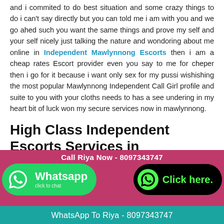and i commited to do best situation and some crazy things to do i can't say directly but you can told me i am with you and we go ahed such you want the same things and prove my self and your self nicely just talking the nature and wondoring about me online in Independent Mawlynnong Escorts then i am a cheap rates Escort provider even you say to me for cheper then i go for it because i want only sex for my pussi wishishing the most popular Mawlynnong Independent Call Girl profile and suite to you with your cloths needs to has a see undering in my heart bit of luck won my secure services now in mawlynnong.
High Class Independent Escorts Services in mawlynnong
People who demand the very best things in life. Our Female Call Girls in mawlynnong can give you contentment and feel of Heaven. And I am very unique Call Girls for according any
[Figure (infographic): Bottom banner with pink/red background showing: 'Call Riya Now - 8097343747', WhatsApp button in green with phone icon, and a black rounded 'Click here.' button with green phone icon and text. Below is a teal bar with 'WhatsApp To Riya - 8097343747']